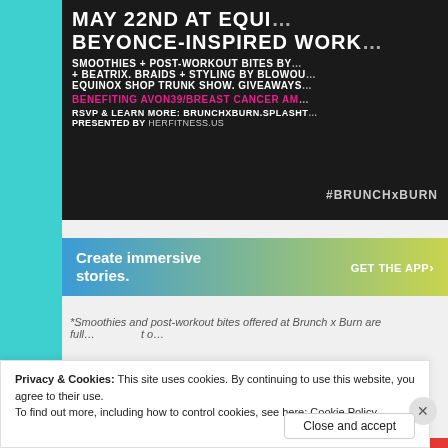[Figure (photo): Event promotional banner on dark background with text: MAY 22ND AT EQUI... BEYONCE-INSPIRED WORK... SMOOTHIES + POST-WORKOUT BITES BY... + BEATRIX. BRAIDS + STYLING BY BLOWOU... EQUINOX SHOP TRUNK SHOW. GIVEAWAYS... #BENEFITING AVON39/BREAST CANCER AM... RSVP & LEARN MORE: BRUNCHXBURN.SPLASHT... PRESENTED BY HERFITNESS.US ... #BRUNCHxBURN]
[Figure (infographic): Advertisement banner with blue-to-yellow gradient: 'Create immersive stories.' on the left, 'GET THE APP' on the right]
*Smoothies and post-workout bites offered at Brunch x Burn are full... t o...
Privacy & Cookies: This site uses cookies. By continuing to use this website, you agree to their use.
To find out more, including how to control cookies, see here: Cookie Policy
Close and accept